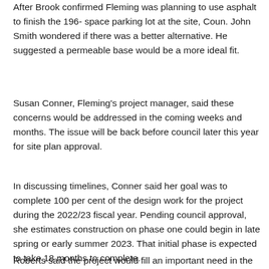After Brook confirmed Fleming was planning to use asphalt to finish the 196- space parking lot at the site, Coun. John Smith wondered if there was a better alternative. He suggested a permeable base would be a more ideal fit.
Susan Conner, Fleming's project manager, said these concerns would be addressed in the coming weeks and months. The issue will be back before council later this year for site plan approval.
In discussing timelines, Conner said her goal was to complete 100 per cent of the design work for the project during the 2022/23 fiscal year. Pending council approval, she estimates construction on phase one could begin in late spring or early summer 2023. That initial phase is expected to take 18 months to complete.
Roberts said the project would fill an important need in the